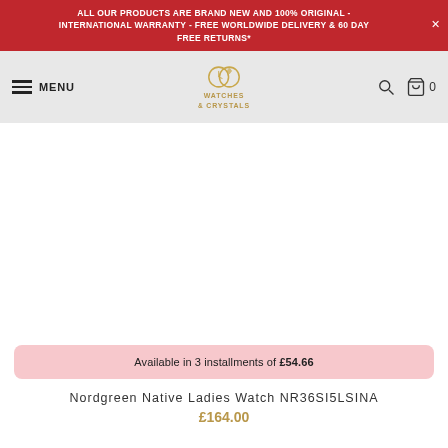ALL OUR PRODUCTS ARE BRAND NEW AND 100% ORIGINAL - INTERNATIONAL WARRANTY - FREE WORLDWIDE DELIVERY & 60 DAY FREE RETURNS*
[Figure (logo): Watches & Crystals logo with two interlocking rings (clock face and diamond ring)]
Available in 3 installments of £54.66
Nordgreen Native Ladies Watch NR36SI5LSINA
£164.00